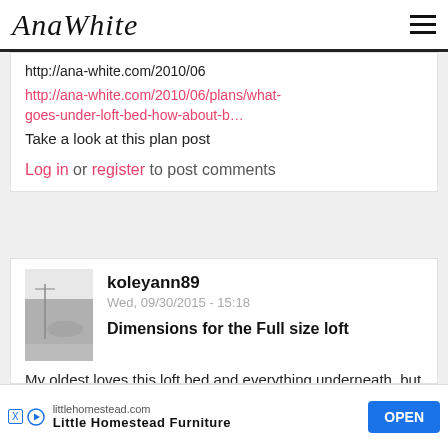AnaWhite
http://ana-white.com/2010/06
http://ana-white.com/2010/06/plans/what-goes-under-loft-bed-how-about-b…
Take a look at this plan post
Log in or register to post comments
koleyann89
Wed, 09/30/2015 - 15:18
Dimensions for the Full size loft
My oldest loves this loft bed and everything underneath, but she has a full size mattress so we wol the dim l?
littlehomestead.com
Little Homestead Furniture
OPEN